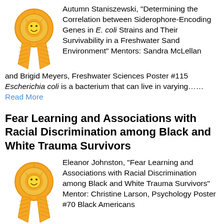[Figure (illustration): Gold award ribbon icon]
Autumn Staniszewski, "Determining the Correlation between Siderophore-Encoding Genes in E. coli Strains and Their Survivability in a Freshwater Sand Environment" Mentors: Sandra McLellan and Brigid Meyers, Freshwater Sciences Poster #115 Escherichia coli is a bacterium that can live in varying…… Read More
Fear Learning and Associations with Racial Discrimination among Black and White Trauma Survivors
[Figure (illustration): Gold award ribbon icon]
Eleanor Johnston, "Fear Learning and Associations with Racial Discrimination among Black and White Trauma Survivors" Mentor: Christine Larson, Psychology Poster #70 Black Americans